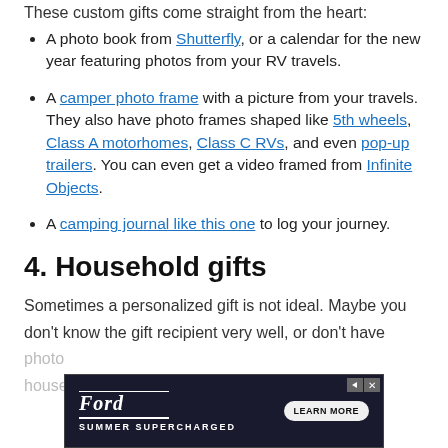These custom gifts come straight from the heart:
A photo book from Shutterfly, or a calendar for the new year featuring photos from your RV travels.
A camper photo frame with a picture from your travels. They also have photo frames shaped like 5th wheels, Class A motorhomes, Class C RVs, and even pop-up trailers. You can even get a video framed from Infinite Objects.
A camping journal like this one to log your journey.
4. Household gifts
Sometimes a personalized gift is not ideal. Maybe you don't know the gift recipient very well, or don't have photos handy. In those cases, a great household gift for your
[Figure (other): Ford Summer Supercharged advertisement banner with Learn More button]